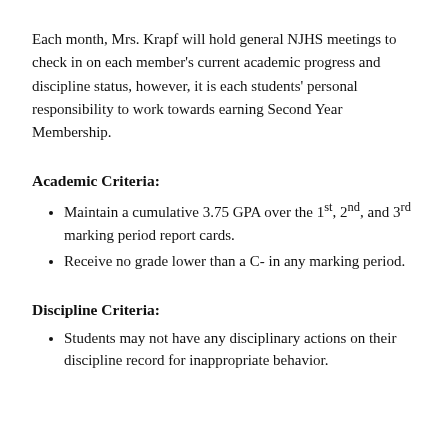Each month, Mrs. Krapf will hold general NJHS meetings to check in on each member's current academic progress and discipline status, however, it is each students' personal responsibility to work towards earning Second Year Membership.
Academic Criteria:
Maintain a cumulative 3.75 GPA over the 1st, 2nd, and 3rd marking period report cards.
Receive no grade lower than a C- in any marking period.
Discipline Criteria:
Students may not have any disciplinary actions on their discipline record for inappropriate behavior.